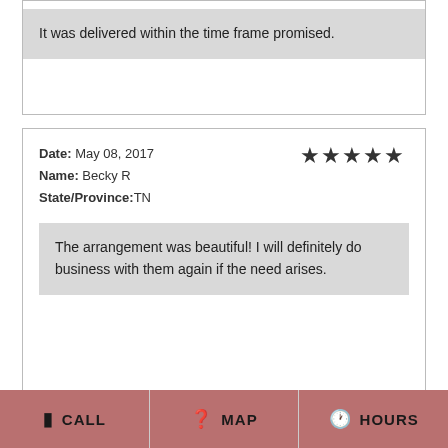It was delivered within the time frame promised.
Date: May 08, 2017
Name: Becky R
State/Province:TN
★★★★★
The arrangement was beautiful! I will definitely do business with them again if the need arises.
Date: May 05, 2017
Name: Deanna D
State/Province:PA
★★★★★
CALL | MAP | HOURS